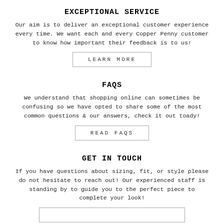EXCEPTIONAL SERVICE
Our aim is to deliver an exceptional customer experience every time. We want each and every Copper Penny customer to know how important their feedback is to us!
LEARN MORE
FAQS
We understand that shopping online can sometimes be confusing so we have opted to share some of the most common questions & our answers, check it out toady!
READ FAQS
GET IN TOUCH
If you have questions about sizing, fit, or style please do not hesitate to reach out! Our experienced staff is standing by to guide you to the perfect piece to complete your look!